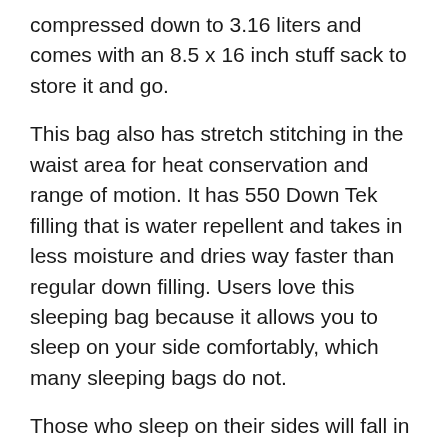compressed down to 3.16 liters and comes with an 8.5 x 16 inch stuff sack to store it and go.
This bag also has stretch stitching in the waist area for heat conservation and range of motion. It has 550 Down Tek filling that is water repellent and takes in less moisture and dries way faster than regular down filling. Users love this sleeping bag because it allows you to sleep on your side comfortably, which many sleeping bags do not.
Those who sleep on their sides will fall in love with this sleeping bag. Users also say that it is warm and keeps in the heat so you get a good night’s rest. They also adored little features like the pocket that holds your phone, and a stuff pocket for your jacket that can be used as a pillow.
One downside is that some users were cold at